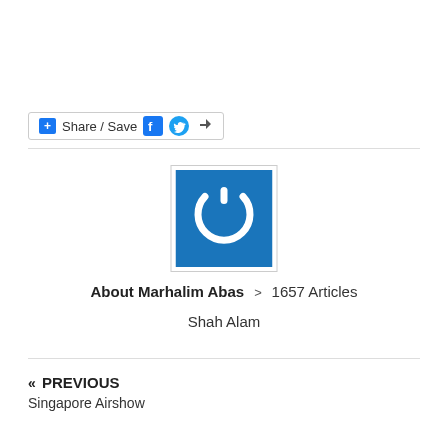[Figure (other): Share/Save social media button bar with blue plus icon, Facebook and Twitter icons, and share arrow icon]
[Figure (logo): Blue square with white power button / circle-arc logo icon representing Marhalim Abas author avatar]
About Marhalim Abas > 1657 Articles
Shah Alam
« PREVIOUS
Singapore Airshow